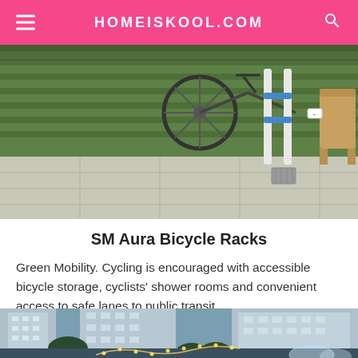HOMEISKOOL.COM
[Figure (photo): Outdoor bicycle racks on green artificial grass surface with blue and white metal poles, adjacent to a concrete sidewalk]
SM Aura Bicycle Racks
Green Mobility. Cycling is encouraged with accessible bicycle storage, cyclists' shower rooms and convenient access to safe lanes to public transit.
[Figure (photo): Aerial view of residential buildings at dusk with string lights and dome-shaped tents or structures visible in an outdoor event area below]